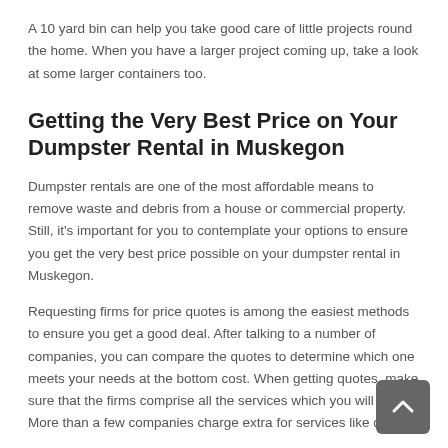A 10 yard bin can help you take good care of little projects round the home. When you have a larger project coming up, take a look at some larger containers too.
Getting the Very Best Price on Your Dumpster Rental in Muskegon
Dumpster rentals are one of the most affordable means to remove waste and debris from a house or commercial property. Still, it's important for you to contemplate your options to ensure you get the very best price possible on your dumpster rental in Muskegon.
Requesting firms for price quotes is among the easiest methods to ensure you get a good deal. After talking to a number of companies, you can compare the quotes to determine which one meets your needs at the bottom cost. When getting quotes, make sure that the firms comprise all the services which you will desire. More than a few companies charge extra for services like drop off